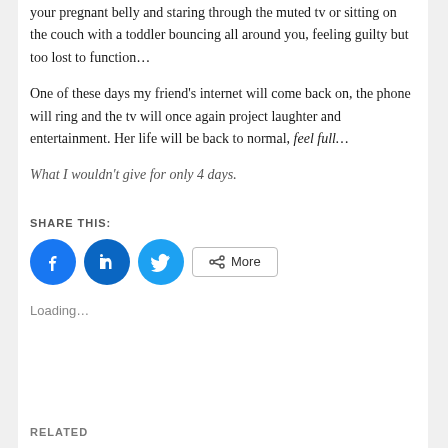your pregnant belly and staring through the muted tv or sitting on the couch with a toddler bouncing all around you, feeling guilty but too lost to function...
One of these days my friend’s internet will come back on, the phone will ring and the tv will once again project laughter and entertainment. Her life will be back to normal, feel full...
What I wouldn’t give for only 4 days.
SHARE THIS:
[Figure (infographic): Social share buttons: Facebook (blue circle), LinkedIn (blue circle), Twitter (cyan circle), and a More button with share icon]
Loading...
RELATED